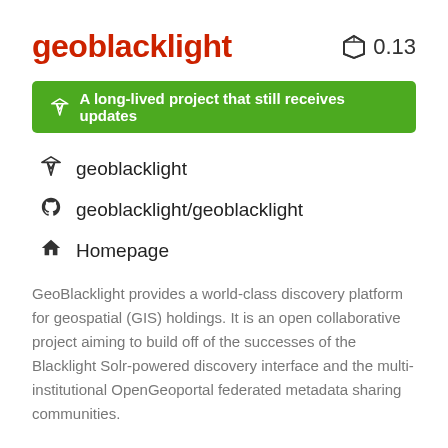geoblacklight  🔬 0.13
A long-lived project that still receives updates
geoblacklight
geoblacklight/geoblacklight
Homepage
GeoBlacklight provides a world-class discovery platform for geospatial (GIS) holdings. It is an open collaborative project aiming to build off of the successes of the Blacklight Solr-powered discovery interface and the multi-institutional OpenGeoportal federated metadata sharing communities.